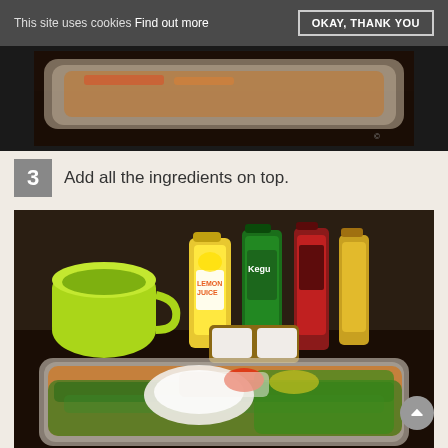This site uses cookies Find out more  OKAY, THANK YOU
[Figure (photo): Top portion of a plastic container with food on a dark surface, partially visible at top of page]
3  Add all the ingredients on top.
[Figure (photo): A clear plastic food container filled with colorful mixed ingredients including green herbs, orange spices, white onion, and red chili, with condiment bottles in the background including lemon juice and coconut oil, plus a green measuring cup on the left]